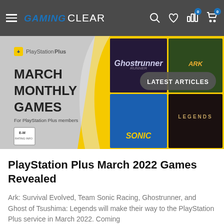Gaming Clear — navigation header with hamburger menu, logo, search, wishlist, and cart icons
[Figure (screenshot): PlayStation Plus March Monthly Games promotional banner featuring Ghostrunner, ARK: Survival Evolved, Team Sonic Racing (Sonic), and Ghost of Tsushima: Legends on a yellow and grey background. Shows 'LATEST ARTICLES' button overlay.]
PlayStation Plus March 2022 Games Revealed
Ark: Survival Evolved, Team Sonic Racing, Ghostrunner, and Ghost of Tsushima: Legends will make their way to the PlayStation Plus service in March 2022. Coming